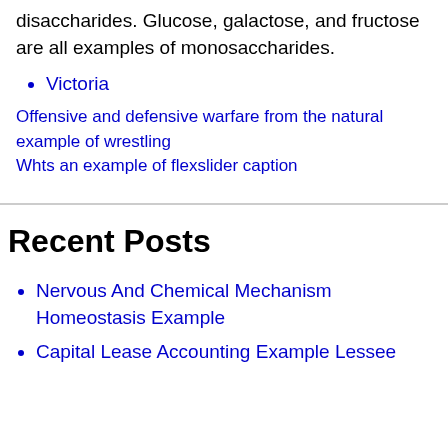disaccharides. Glucose, galactose, and fructose are all examples of monosaccharides.
Victoria
Offensive and defensive warfare from the natural example of wrestling
Whts an example of flexslider caption
Recent Posts
Nervous And Chemical Mechanism Homeostasis Example
Capital Lease Accounting Example Lessee